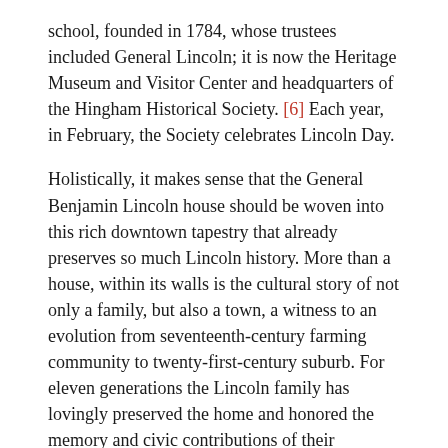school, founded in 1784, whose trustees included General Lincoln; it is now the Heritage Museum and Visitor Center and headquarters of the Hingham Historical Society. [6] Each year, in February, the Society celebrates Lincoln Day.
Holistically, it makes sense that the General Benjamin Lincoln house should be woven into this rich downtown tapestry that already preserves so much Lincoln history. More than a house, within its walls is the cultural story of not only a family, but also a town, a witness to an evolution from seventeenth-century farming community to twenty-first-century suburb. For eleven generations the Lincoln family has lovingly preserved the home and honored the memory and civic contributions of their ancestors.
Now it’s the turn of the village.
Notes